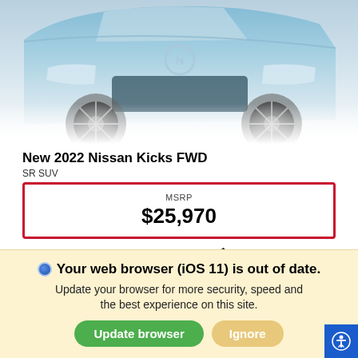[Figure (photo): Front view of a blue Nissan Kicks FWD SUV, partially shown, fading into white background]
New 2022 Nissan Kicks FWD
SR SUV
| MSRP |
| --- |
| $25,970 |
ETA of 2022-08-29*
In-Transit Coming Soon
Your web browser (iOS 11) is out of date. Update your browser for more security, speed and the best experience on this site.